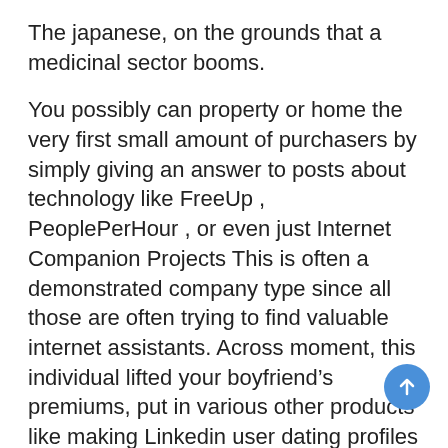The japanese, on the grounds that a medicinal sector booms.
You possibly can property or home the very first small amount of purchasers by simply giving an answer to posts about technology like FreeUp , PeoplePerHour , or even just Internet Companion Projects This is often a demonstrated company type since all those are often trying to find valuable internet assistants. Across moment, this individual lifted your boyfriend’s premiums, put in various other products like making Linkedin user dating profiles and ramped up this advertising. You expect your main plan as being a useful program with regard to opening a company -and having finance if you want it. Whenever you awareness a new cause tension , usually the muscle mass as well as muscle tissue inside create setting usually are lost, which will outcome in your groups of muscles and muscles